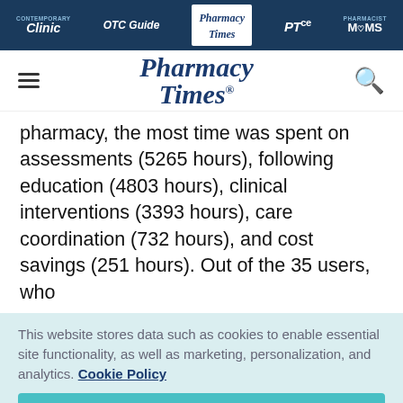[Figure (screenshot): Pharmacy Times website navigation bar with links: Contemporary Clinic, OTC Guide, Pharmacy Times (active/selected), PTce, Pharmacist Moms]
[Figure (screenshot): Pharmacy Times website header with hamburger menu, Pharmacy Times logo in italic serif font, and search icon]
pharmacy, the most time was spent on assessments (5265 hours), following education (4803 hours), clinical interventions (3393 hours), care coordination (732 hours), and cost savings (251 hours). Out of the 35 users, who
This website stores data such as cookies to enable essential site functionality, as well as marketing, personalization, and analytics. Cookie Policy
Accept
Deny